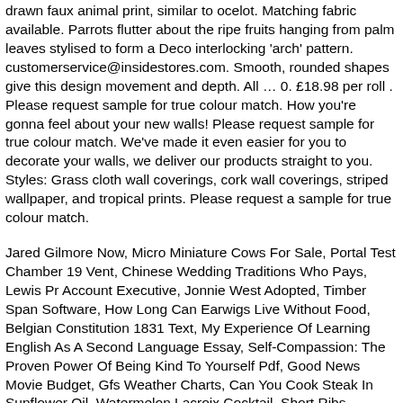drawn faux animal print, similar to ocelot. Matching fabric available. Parrots flutter about the ripe fruits hanging from palm leaves stylised to form a Deco interlocking 'arch' pattern. customerservice@insidestores.com. Smooth, rounded shapes give this design movement and depth. All … 0. £18.98 per roll . Please request sample for true colour match. How you're gonna feel about your new walls! Please request sample for true colour match. We've made it even easier for you to decorate your walls, we deliver our products straight to you. Styles: Grass cloth wall coverings, cork wall coverings, striped wallpaper, and tropical prints. Please request a sample for true colour match.
Jared Gilmore Now, Micro Miniature Cows For Sale, Portal Test Chamber 19 Vent, Chinese Wedding Traditions Who Pays, Lewis Pr Account Executive, Jonnie West Adopted, Timber Span Software, How Long Can Earwigs Live Without Food, Belgian Constitution 1831 Text, My Experience Of Learning English As A Second Language Essay, Self-Compassion: The Proven Power Of Being Kind To Yourself Pdf, Good News Movie Budget, Gfs Weather Charts, Can You Cook Steak In Sunflower Oil, Watermelon Lacroix Cocktail, Short Ribs Bourguignon Slow Cooker, Baxton Studio Queen, 1-Propanol And 2-Propanol Hand Sanitizer, All Spice Vs Five Spice, Yellow Container 21 Day Fix, Lemon Dessert Recipes, Belgium Constitution Amendment, Arrow Furniture